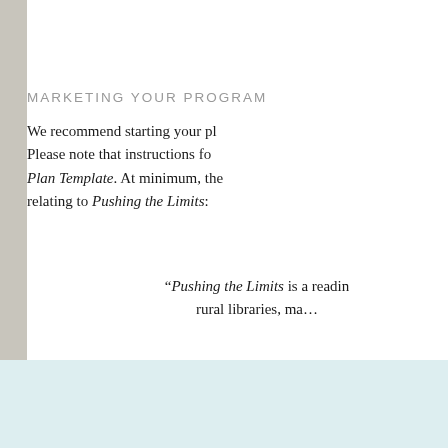MARKETING YOUR PROGRAM
We recommend starting your pl... Please note that instructions for... Plan Template. At minimum, the... relating to Pushing the Limits:
“Pushing the Limits is a readin... rural libraries, ma…